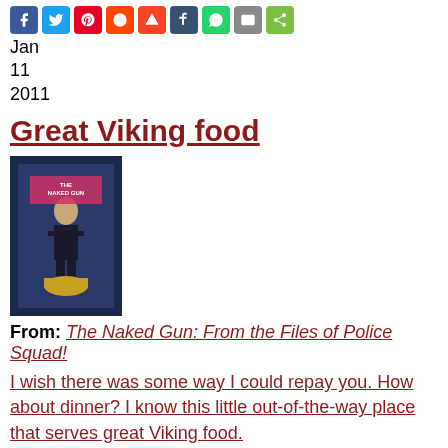[Figure (other): Social sharing icons bar: Facebook, Twitter, Pinterest, Reddit, StumbleUpon, Tumblr, WhatsApp, Email, Share]
Jan
11
2011
Great Viking food
[Figure (photo): Movie poster for The Naked Gun: From the Files of Police Squad!]
From: The Naked Gun: From the Files of Police Squad!
I wish there was some way I could repay you. How about dinner? I know this little out-of-the-way place that serves great Viking food.
Leslie Nielsen (Det. Frank Drebin)
#Food
#Gratitude
#Vikings
[Figure (other): Social sharing icons bar: Facebook, Twitter, Pinterest, Reddit, StumbleUpon, Tumblr, WhatsApp, Email, Share]
Pages